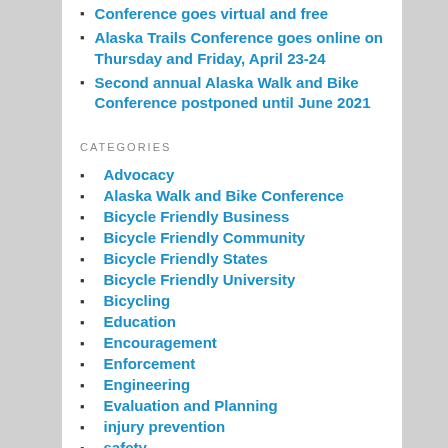Conference goes virtual and free
Alaska Trails Conference goes online on Thursday and Friday, April 23-24
Second annual Alaska Walk and Bike Conference postponed until June 2021
CATEGORIES
Advocacy
Alaska Walk and Bike Conference
Bicycle Friendly Business
Bicycle Friendly Community
Bicycle Friendly States
Bicycle Friendly University
Bicycling
Education
Encouragement
Enforcement
Engineering
Evaluation and Planning
injury prevention
safety